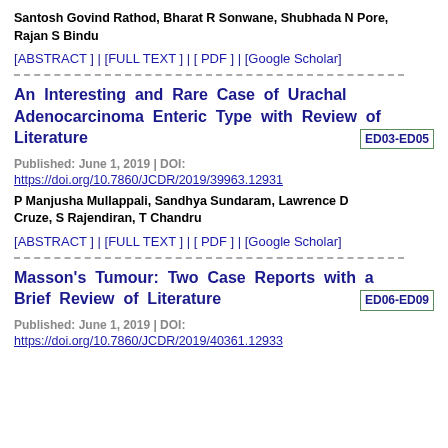Santosh Govind Rathod, Bharat R Sonwane, Shubhada N Pore, Rajan S Bindu
[ABSTRACT ] | [FULL TEXT ] | [ PDF ] | [Google Scholar]
An Interesting and Rare Case of Urachal Adenocarcinoma Enteric Type with Review of Literature  ED03-ED05
Published: June 1, 2019 | DOI: https://doi.org/10.7860/JCDR/2019/39963.12931
P Manjusha Mullappali, Sandhya Sundaram, Lawrence D Cruze, S Rajendiran, T Chandru
[ABSTRACT ] | [FULL TEXT ] | [ PDF ] | [Google Scholar]
Masson's Tumour: Two Case Reports with a Brief Review of Literature  ED06-ED09
Published: June 1, 2019 | DOI: https://doi.org/10.7860/JCDR/2019/40361.12933